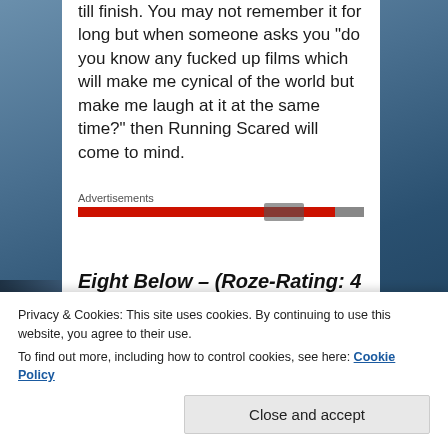till finish. You may not remember it for long but when someone asks you "do you know any fucked up films which will make me cynical of the world but make me laugh at it at the same time?" then Running Scared will come to mind.
Advertisements
Eight Below – (Roze-Rating: 4 / 5)
Privacy & Cookies: This site uses cookies. By continuing to use this website, you agree to their use.
To find out more, including how to control cookies, see here: Cookie Policy
Close and accept